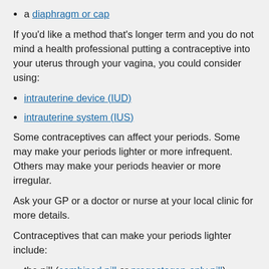a diaphragm or cap
If you'd like a method that's longer term and you do not mind a health professional putting a contraceptive into your uterus through your vagina, you could consider using:
intrauterine device (IUD)
intrauterine system (IUS)
Some contraceptives can affect your periods. Some may make your periods lighter or more infrequent. Others may make your periods heavier or more irregular.
Ask your GP or a doctor or nurse at your local clinic for more details.
Contraceptives that can make your periods lighter include:
the pill (combined pill or progestogen-only pill)